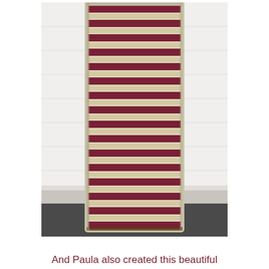[Figure (photo): A vintage louvered window shutter painted with alternating cream/beige and dark burgundy/red horizontal slat stripes, leaning against a white wall and resting on a dark asphalt surface. The shutter has a worn, distressed off-white frame.]
And Paula also created this beautiful